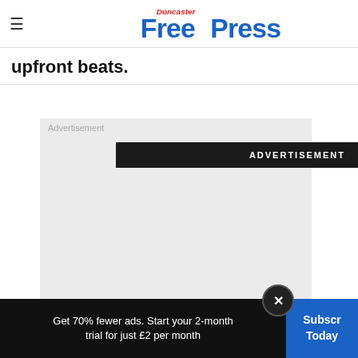Doncaster Free Press
upfront beats.
[Figure (other): Advertisement placeholder box with light grey background and 'Advertisement' label, with a black banner reading 'ADVERTISEMENT']
Get 70% fewer ads. Start your 2-month trial for just £2 per month | Subscribe Today